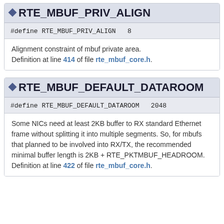RTE_MBUF_PRIV_ALIGN
#define RTE_MBUF_PRIV_ALIGN   8
Alignment constraint of mbuf private area.
Definition at line 414 of file rte_mbuf_core.h.
RTE_MBUF_DEFAULT_DATAROOM
#define RTE_MBUF_DEFAULT_DATAROOM   2048
Some NICs need at least 2KB buffer to RX standard Ethernet frame without splitting it into multiple segments. So, for mbufs that planned to be involved into RX/TX, the recommended minimal buffer length is 2KB + RTE_PKTMBUF_HEADROOM.
Definition at line 422 of file rte_mbuf_core.h.